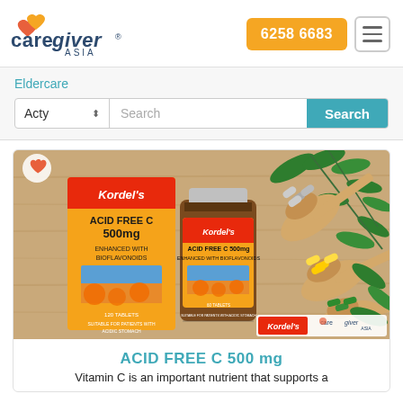[Figure (logo): CareGiver Asia logo with heart icon and text]
6258 6683
Eldercare
Acty
Search
[Figure (photo): Product photo of Kordel's Acid Free C 500mg supplement box and bottle on wooden spoons with green leaves background, branded with Kordel's and CareGiver logos]
ACID FREE C 500 mg
Vitamin C is an important nutrient that supports a